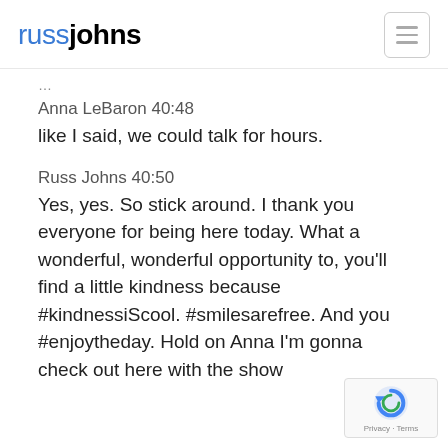russjohns
Anna LeBaron 40:48
like I said, we could talk for hours.
Russ Johns 40:50
Yes, yes. So stick around. I thank you everyone for being here today. What a wonderful, wonderful opportunity to, you'll find a little kindness because #kindnessiScool. #smilesarefree. And you #enjoytheday. Hold on Anna I'm gonna check out here with the show